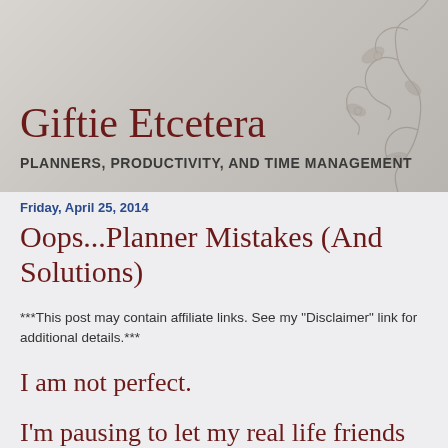[Figure (illustration): Blog header background with grey/beige textured gradient and decorative floral vine pattern on the right side]
Giftie Etcetera
PLANNERS, PRODUCTIVITY, AND TIME MANAGEMENT
Friday, April 25, 2014
Oops...Planner Mistakes (And Solutions)
***This post may contain affiliate links. See my "Disclaimer" link for additional details.***
I am not perfect.
I'm pausing to let my real life friends